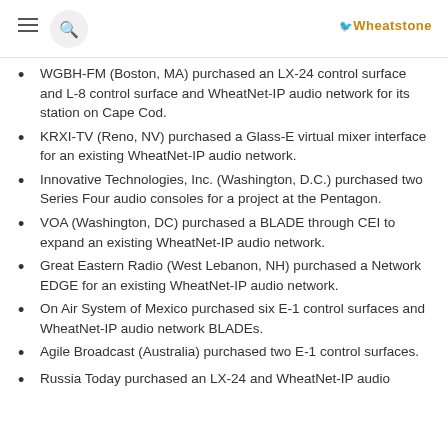Wheatstone
WGBH-FM (Boston, MA) purchased an LX-24 control surface and L-8 control surface and WheatNet-IP audio network for its station on Cape Cod.
KRXI-TV (Reno, NV) purchased a Glass-E virtual mixer interface for an existing WheatNet-IP audio network.
Innovative Technologies, Inc. (Washington, D.C.) purchased two Series Four audio consoles for a project at the Pentagon.
VOA (Washington, DC) purchased a BLADE through CEI to expand an existing WheatNet-IP audio network.
Great Eastern Radio (West Lebanon, NH) purchased a Network EDGE for an existing WheatNet-IP audio network.
On Air System of Mexico purchased six E-1 control surfaces and WheatNet-IP audio network BLADEs.
Agile Broadcast (Australia) purchased two E-1 control surfaces.
Russia Today purchased an LX-24 and WheatNet-IP audio